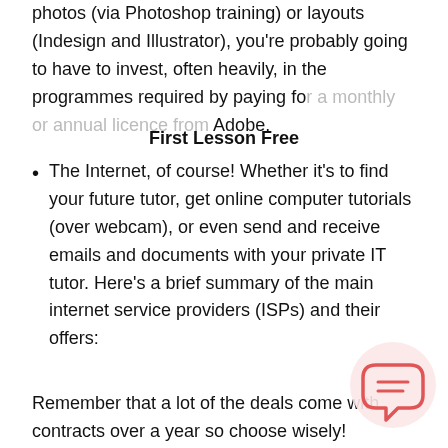photos (via Photoshop training) or layouts (Indesign and Illustrator), you're probably going to have to invest, often heavily, in the programmes required by paying for a monthly or annual licence from Adobe.
First Lesson Free
The Internet, of course! Whether it's to find your future tutor, get online computer tutorials (over webcam), or even send and receive emails and documents with your private IT tutor. Here's a brief summary of the main internet service providers (ISPs) and their offers:
Remember that a lot of the deals come with contracts over a year so choose wisely!